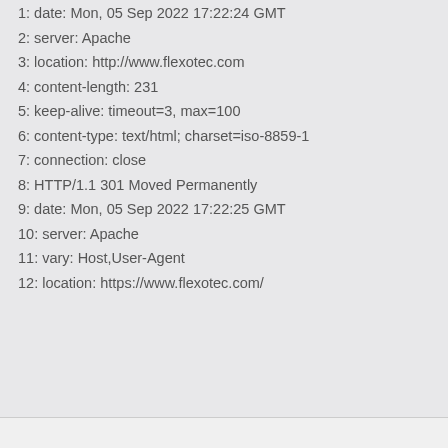1: date: Mon, 05 Sep 2022 17:22:24 GMT
2: server: Apache
3: location: http://www.flexotec.com
4: content-length: 231
5: keep-alive: timeout=3, max=100
6: content-type: text/html; charset=iso-8859-1
7: connection: close
8: HTTP/1.1 301 Moved Permanently
9: date: Mon, 05 Sep 2022 17:22:25 GMT
10: server: Apache
11: vary: Host,User-Agent
12: location: https://www.flexotec.com/